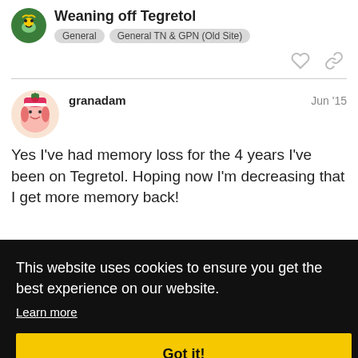Weaning off Tegretol | General | General TN & GPN (Old Site)
granadam  Jun '15
Yes I've had memory loss for the 4 years I've been on Tegretol. Hoping now I'm decreasing that I get more memory back!
This website uses cookies to ensure you get the best experience on our website. Learn more Got it!